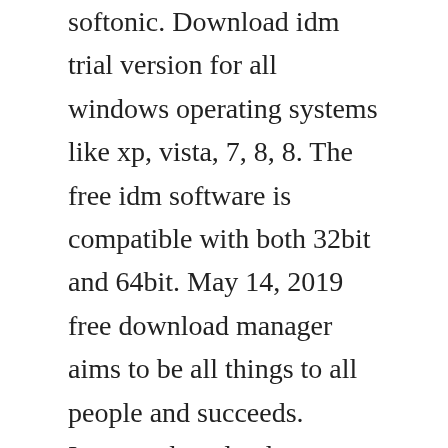softonic. Download idm trial version for all windows operating systems like xp, vista, 7, 8, 8. The free idm software is compatible with both 32bit and 64bit. May 14, 2019 free download manager aims to be all things to all people and succeeds. Internet download manager free version download for pc. Internet download manager idm is paid software, you have to buy this software once the trial period of 30 days will expire.
Internet download manager 2020 full version download. According to the opinions of idm users internet download manager is a perfect